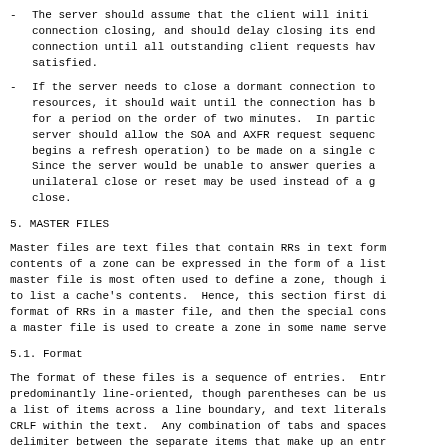The server should assume that the client will initiate connection closing, and should delay closing its end of the connection until all outstanding client requests have been satisfied.
If the server needs to close a dormant connection to reclaim resources, it should wait until the connection has been idle for a period on the order of two minutes. In particular, the server should allow the SOA and AXFR request sequence (which begins a refresh operation) to be made on a single connection. Since the server would be unable to answer queries after it has unilateral close or reset may be used instead of a graceful close.
5. MASTER FILES
Master files are text files that contain RRs in text form. The contents of a zone can be expressed in the form of a list. A master file is most often used to define a zone, though it can also to list a cache's contents. Hence, this section first discusses the format of RRs in a master file, and then the special considerations if a master file is used to create a zone in some name server.
5.1. Format
The format of these files is a sequence of entries. Entries are predominantly line-oriented, though parentheses can be used to span a list of items across a line boundary, and text literals can include CRLF within the text. Any combination of tabs and spaces acts as a delimiter between the separate items that make up an entry. any line in the master file can end with a comment. The